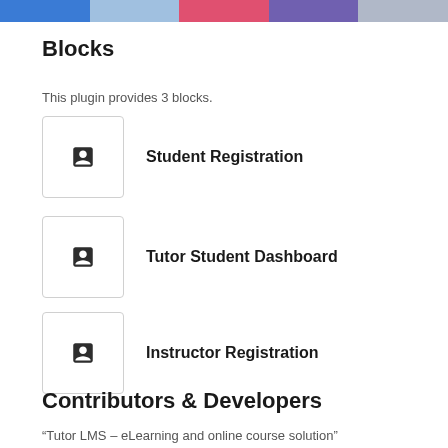[Figure (screenshot): Strip of screenshot thumbnails at the top of the page showing UI previews]
Blocks
This plugin provides 3 blocks.
Student Registration
Tutor Student Dashboard
Instructor Registration
Contributors & Developers
“Tutor LMS – eLearning and online course solution”